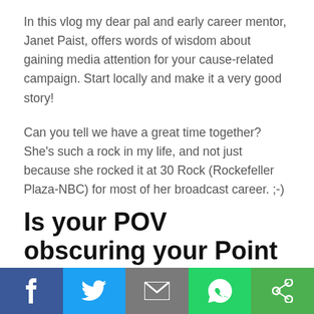In this vlog my dear pal and early career mentor, Janet Paist, offers words of wisdom about gaining media attention for your cause-related campaign. Start locally and make it a very good story!
Can you tell we have a great time together? She's such a rock in my life, and not just because she rocked it at 30 Rock (Rockefeller Plaza-NBC) for most of her broadcast career. ;-)
Is your POV obscuring your Point of Focus?